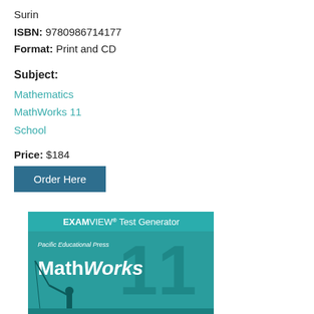Surin
ISBN: 9780986714177
Format: Print and CD
Subject:
Mathematics
MathWorks 11
School
Price: $184
Order Here
[Figure (photo): Book cover for MathWorks 11 EXAMVIEW Test Generator by Pacific Educational Press, teal colored cover with large '11' text and silhouette of a person fishing]